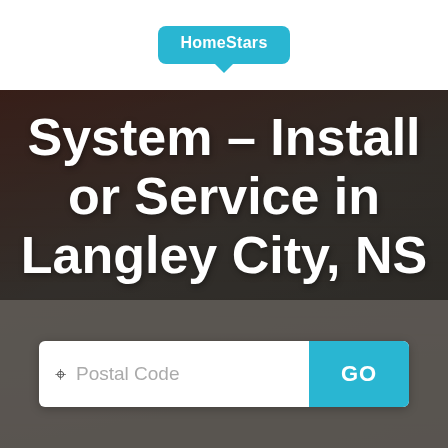[Figure (logo): HomeStars logo — white text in a teal/cyan speech bubble shape]
System - Install or Service in Langley City, NS
[Figure (screenshot): Search bar with postal code text field and a teal GO button, overlaid on a dark wood-textured background]
Postal Code
GO